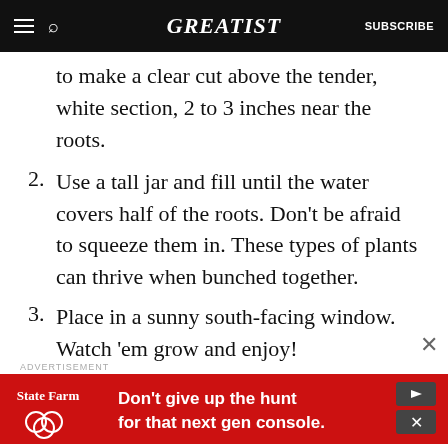GREATIST | SUBSCRIBE
to make a clear cut above the tender, white section, 2 to 3 inches near the roots.
2. Use a tall jar and fill until the water covers half of the roots. Don't be afraid to squeeze them in. These types of plants can thrive when bunched together.
3. Place in a sunny south-facing window. Watch 'em grow and enjoy!
ADVERTISEMENT
[Figure (infographic): State Farm advertisement banner: red background with State Farm logo and text 'Don't give up the hunt for that next gen console.']